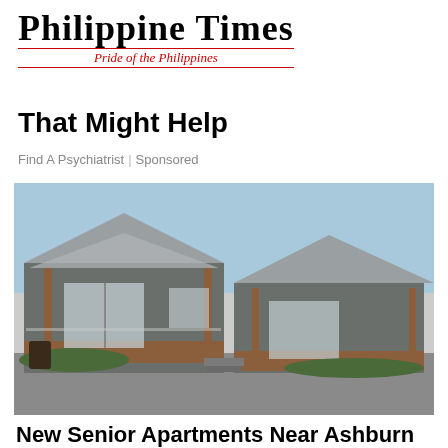[Figure (logo): Philippine Times newspaper logo with 'Pride of the Philippines' tagline in red italic text, flanked by red horizontal lines]
That Might Help
Find A Psychiatrist | Sponsored
[Figure (photo): Photograph of modern small homes or senior apartment bungalows with wooden decks, covered porches, large glass sliding doors, and landscaped garden beds in front. Sky is blue and clear.]
New Senior Apartments Near Ashburn (Take A Look At The Prices)